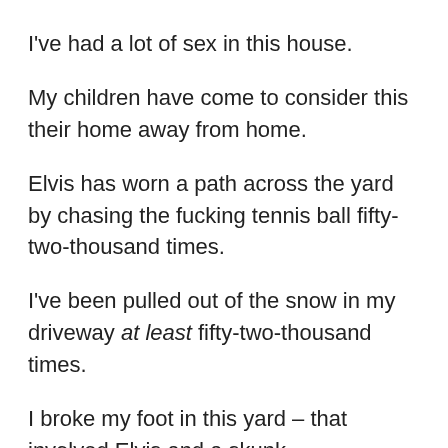I've had a lot of sex in this house.
My children have come to consider this their home away from home.
Elvis has worn a path across the yard by chasing the fucking tennis ball fifty-two-thousand times.
I've been pulled out of the snow in my driveway at least fifty-two-thousand times.
I broke my foot in this yard – that involved Elvis and a skunk.